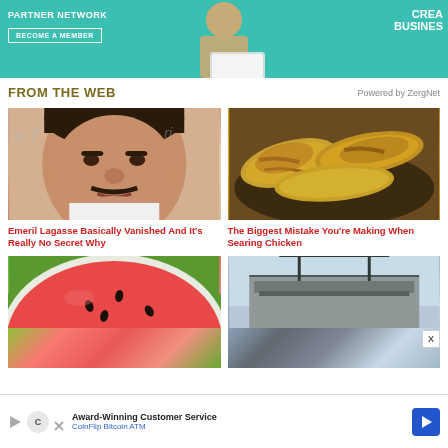[Figure (photo): Teal/green banner advertisement for a Partner Network with text 'PARTNER NETWORK', 'BECOME A MEMBER', 'CREATE YOUR BUSINESS' and a person with a laptop]
FROM THE WEB
Powered by ZergNet
[Figure (photo): Photo of Emeril Lagasse, a heavyset man with dark hair]
Emeril Lagasse Basically Vanished And It's Really No Secret Why
[Figure (photo): Photo of chicken pieces searing in a pan]
The Biggest Mistake You're Making When Searing Chicken
[Figure (photo): Photo of watermelon slice]
[Figure (photo): Photo of a building exterior]
[Figure (photo): Bottom advertisement for CoinFlip Bitcoin ATM - Award-Winning Customer Service]